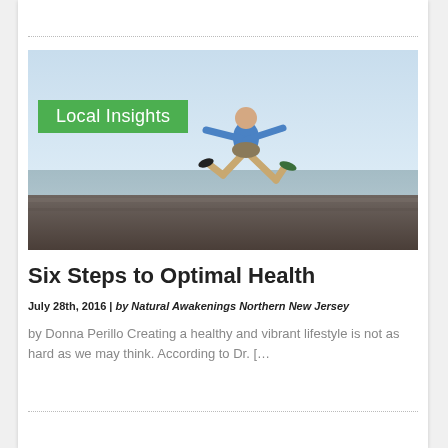[Figure (photo): Person in blue shirt jumping energetically mid-air against a blurred landscape with sky and ground, overlaid with a green 'Local Insights' label badge in the top-left corner.]
Six Steps to Optimal Health
July 28th, 2016 | by Natural Awakenings Northern New Jersey
by Donna Perillo Creating a healthy and vibrant lifestyle is not as hard as we may think. According to Dr. [&hellip